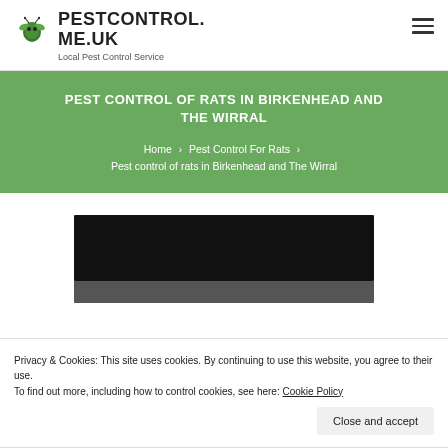PESTCONTROL.ME.UK – Local Pest Control Service
PEST CONTROL OF RATS IN BIRKENHEAD AND THE WIRRAL
Home › Pest Control For Rats › Pest control of rats in Birkenhead and The Wirral
[Figure (photo): Dark photograph showing a rat, partially visible at bottom, with black background area above]
Privacy & Cookies: This site uses cookies. By continuing to use this website, you agree to their use.
To find out more, including how to control cookies, see here: Cookie Policy
Close and accept